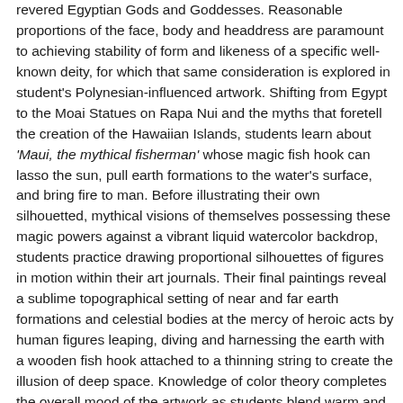revered Egyptian Gods and Goddesses. Reasonable proportions of the face, body and headdress are paramount to achieving stability of form and likeness of a specific well-known deity, for which that same consideration is explored in student's Polynesian-influenced artwork. Shifting from Egypt to the Moai Statues on Rapa Nui and the myths that foretell the creation of the Hawaiian Islands, students learn about 'Maui, the mythical fisherman' whose magic fish hook can lasso the sun, pull earth formations to the water's surface, and bring fire to man. Before illustrating their own silhouetted, mythical visions of themselves possessing these magic powers against a vibrant liquid watercolor backdrop, students practice drawing proportional silhouettes of figures in motion within their art journals. Their final paintings reveal a sublime topographical setting of near and far earth formations and celestial bodies at the mercy of heroic acts by human figures leaping, diving and harnessing the earth with a wooden fish hook attached to a thinning string to create the illusion of deep space. Knowledge of color theory completes the overall mood of the artwork as students blend warm and cool color palettes to dramatize this mythical tale of heroism.
The all-grade level culminating art project turns a child's mythological